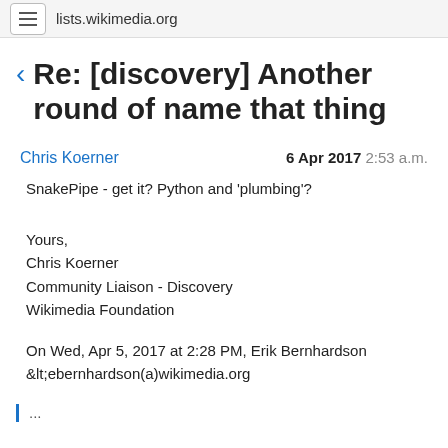lists.wikimedia.org
Re: [discovery] Another round of name that thing
Chris Koerner   6 Apr 2017  2:53 a.m.
SnakePipe - get it? Python and 'plumbing'?
Yours,
Chris Koerner
Community Liaison - Discovery
Wikimedia Foundation
On Wed, Apr 5, 2017 at 2:28 PM, Erik Bernhardson &lt;ebernhardson(a)wikimedia.org
...